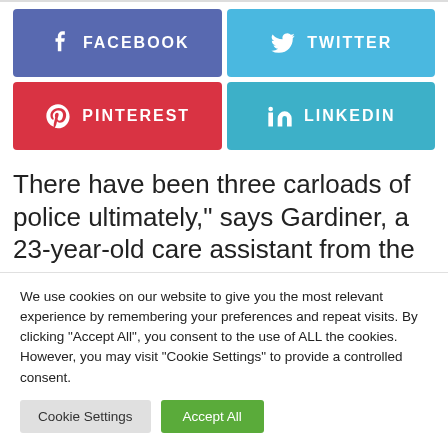[Figure (infographic): Social sharing buttons: Facebook (blue), Twitter (light blue), Pinterest (red), LinkedIn (teal)]
There have been three carloads of police ultimately," says Gardiner, a 23-year-old care assistant from the
We use cookies on our website to give you the most relevant experience by remembering your preferences and repeat visits. By clicking "Accept All", you consent to the use of ALL the cookies. However, you may visit "Cookie Settings" to provide a controlled consent.